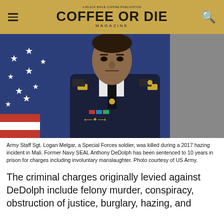COFFEE OR DIE MAGAZINE
[Figure (photo): Army Staff Sgt. Logan Melgar in dress uniform in front of an American flag. Official US Army portrait photo.]
Army Staff Sgt. Logan Melgar, a Special Forces soldier, was killed during a 2017 hazing incident in Mali. Former Navy SEAL Anthony DeDolph has been sentenced to 10 years in prison for charges including involuntary manslaughter. Photo courtesy of US Army.
The criminal charges originally levied against DeDolph include felony murder, conspiracy, obstruction of justice, burglary, hazing, and